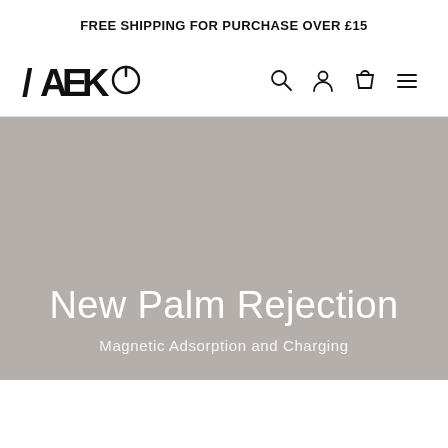FREE SHIPPING FOR PURCHASE OVER £15
[Figure (logo): MEKO brand logo with stylized lettering and power button icon]
New Palm Rejection
Magnetic Adsorption and Charging